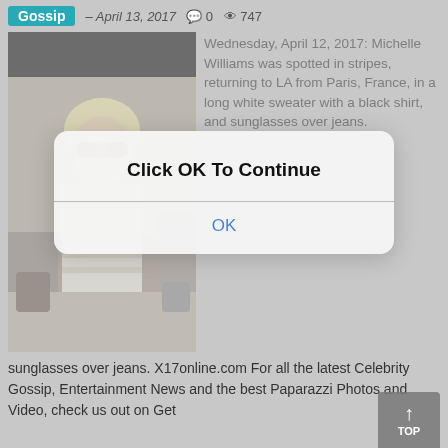Gossip – April 13, 2017  💬 0  👁 747
[Figure (photo): Photo of a blonde woman with short hair wearing sunglasses and a striped top, at what appears to be an airport.]
Wednesday, April 12, 2017: Michelle Williams was spotted in stripes, returning to LA from Paris, France, in a long white sweater with a black shirt, and sunglasses over jeans. X17online.com For all the latest Celebrity Gossip, Entertainment News and the best Paparazzi Photos and Video, check us out on Get
[Figure (screenshot): Modal dialog box with text 'Click OK To Continue' and an OK button.]